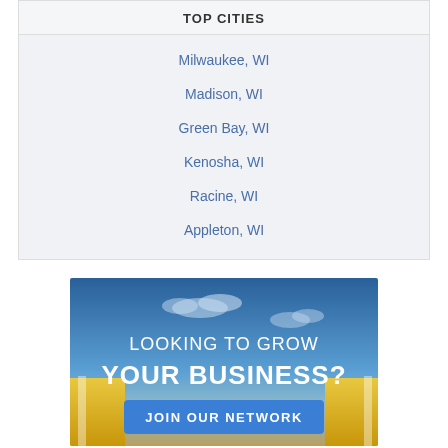TOP CITIES
Milwaukee, WI
Madison, WI
Green Bay, WI
Kenosha, WI
Racine, WI
Appleton, WI
[Figure (illustration): Advertisement banner with blue-to-gold gradient sky background with clouds, text 'LOOKING TO GROW YOUR BUSINESS?' and a blue 'JOIN OUR NETWORK' button]